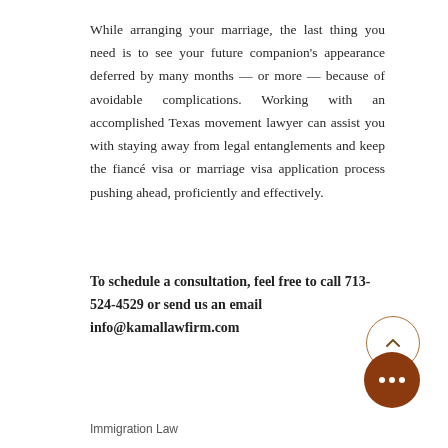While arranging your marriage, the last thing you need is to see your future companion's appearance deferred by many months — or more — because of avoidable complications. Working with an accomplished Texas movement lawyer can assist you with staying away from legal entanglements and keep the fiancé visa or marriage visa application process pushing ahead, proficiently and effectively.
To schedule a consultation, feel free to call 713-524-4529 or send us an email info@kamallawfirm.com
Immigration Law